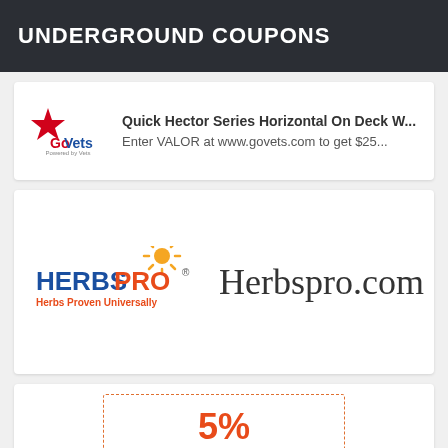UNDERGROUND COUPONS
Quick Hector Series Horizontal On Deck W...
Enter VALOR at www.govets.com to get $25...
[Figure (logo): HerbsPro logo with sun rays graphic and tagline Herbs Proven Universally]
Herbspro.com
[Figure (other): Coupon box with dashed orange border showing 5%]